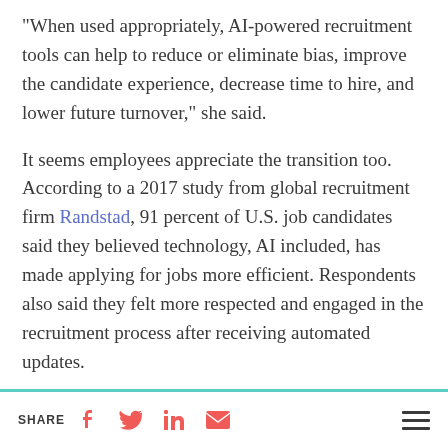“When used appropriately, AI-powered recruitment tools can help to reduce or eliminate bias, improve the candidate experience, decrease time to hire, and lower future turnover,” she said.
It seems employees appreciate the transition too. According to a 2017 study from global recruitment firm Randstad, 91 percent of U.S. job candidates said they believed technology, AI included, has made applying for jobs more efficient. Respondents also said they felt more respected and engaged in the recruitment process after receiving automated updates.
SHARE